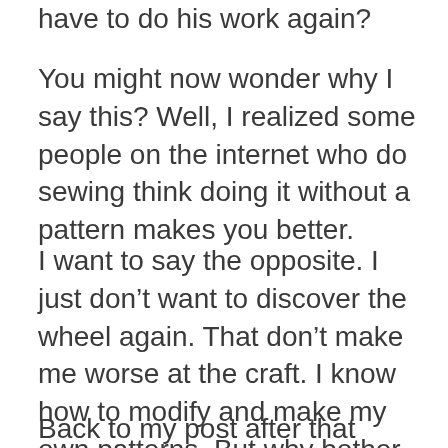have to do his work again?
You might now wonder why I say this? Well, I realized some people on the internet who do sewing think doing it without a pattern makes you better.
I want to say the opposite. I just don’t want to discover the wheel again. That don’t make me worse at the craft. I know how to modify and make my own patterns. But why bother when you find a beautiful pattern someone spent hours making?
Back to my post after that small rant.